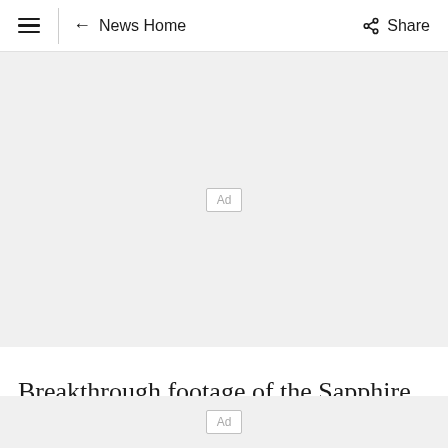≡  ← News Home    Share
[Figure (other): Advertisement placeholder banner with 'Ad' label in center on light gray background]
Breakthrough footage of the Sapphire Coast's humpback megapods will be broadcast on the
[Figure (other): Advertisement placeholder bar with 'Ad' label on light gray background at bottom of page]